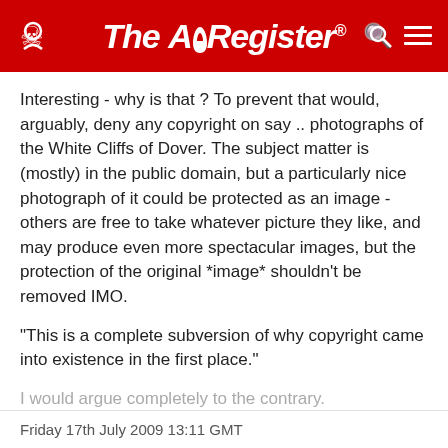The Register
Interesting - why is that ? To prevent that would, arguably, deny any copyright on say .. photographs of the White Cliffs of Dover. The subject matter is (mostly) in the public domain, but a particularly nice photograph of it could be protected as an image - others are free to take whatever picture they like, and may produce even more spectacular images, but the protection of the original *image* shouldn't be removed IMO.
"This is a complete subversion of why copyright came into existence in the first place."
I would argue completely to the contrary.
In this particular case. It seem's someone for some
Expand Comment
0  1
Friday 17th July 2009 13:11 GMT